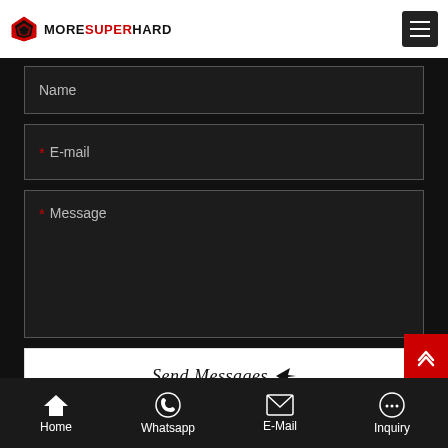MoreSuperHard
Name
* E-mail
* Message
Send Messages
Home | Whatsapp | E-Mail | Inquiry